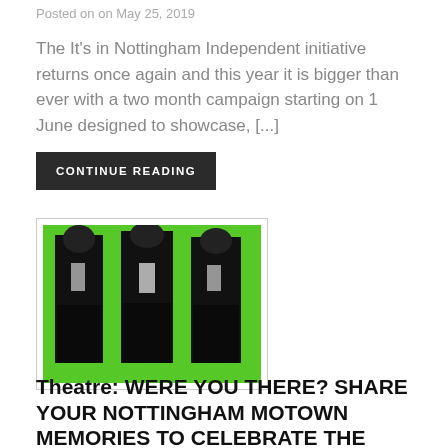Posted on on May 25, 2019
The It's in Nottingham Independent initiative returns once again and this year it is bigger than ever with a two month campaign starting on 1 June designed to showcase, [...]
CONTINUE READING
[Figure (photo): Three figures in black suits against a bright green background, shown in a bordered image frame]
Theatre: WERE YOU THERE? SHARE YOUR NOTTINGHAM MOTOWN MEMORIES TO CELEBRATE THE SMASH-HIT MUSICAL ARRIVING IN TOWN